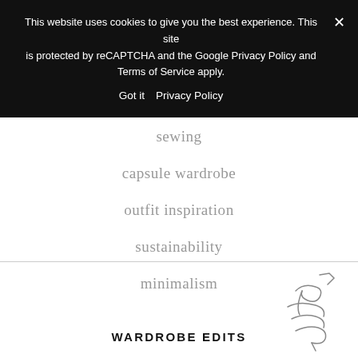This website uses cookies to give you the best experience. This site is protected by reCAPTCHA and the Google Privacy Policy and Terms of Service apply.
Got it   Privacy Policy
sewing
capsule wardrobe
outfit inspiration
sustainability
minimalism
WARDROBE EDITS